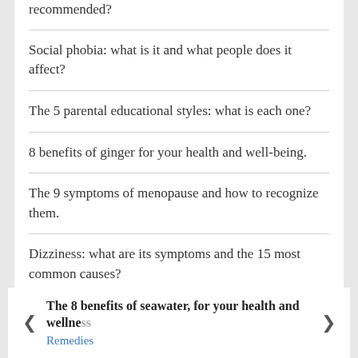recommended?
Social phobia: what is it and what people does it affect?
The 5 parental educational styles: what is each one?
8 benefits of ginger for your health and well-being.
The 9 symptoms of menopause and how to recognize them.
Dizziness: what are its symptoms and the 15 most common causes?
The 8 benefits of seawater, for your health and wellness
Remedies